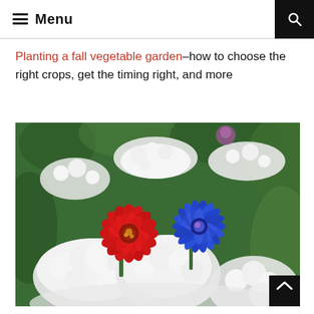Menu
Planting a fall vegetable garden–how to choose the right crops, get the timing right, and more
[Figure (photo): Close-up photograph of garden flowers: a vivid red zinnia and a bright blue cornflower surrounded by clusters of small white flowers (likely yarrow) against a green leafy background.]